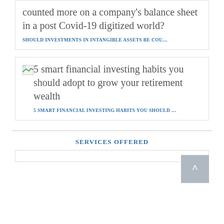counted more on a company's balance sheet in a post Covid-19 digitized world?
SHOULD INVESTMENTS IN INTANGIBLE ASSETS BE COU...
[Figure (illustration): Broken image icon placeholder for article thumbnail]
5 smart financial investing habits you should adopt to grow your retirement wealth
5 SMART FINANCIAL INVESTING HABITS YOU SHOULD ...
SERVICES OFFERED